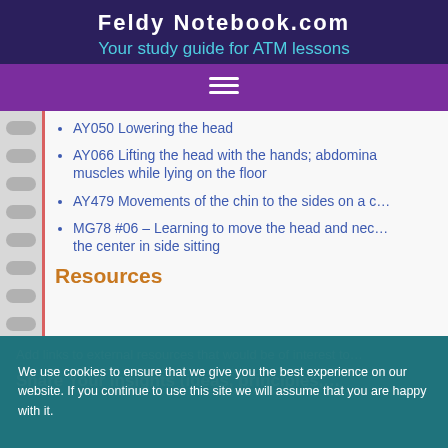Feldy Notebook.com
Your study guide for ATM lessons
AY050 Lowering the head
AY066 Lifting the head with the hands; abdominal muscles while lying on the floor
AY479 Movements of the chin to the sides on a c…
MG78 #06 – Learning to move the head and nec… the center in side sitting
Resources
Add links to external resources that would be of interest to…
Share Your Insights (ideas, principles,…
We use cookies to ensure that we give you the best experience on our website. If you continue to use this site we will assume that you are happy with it.